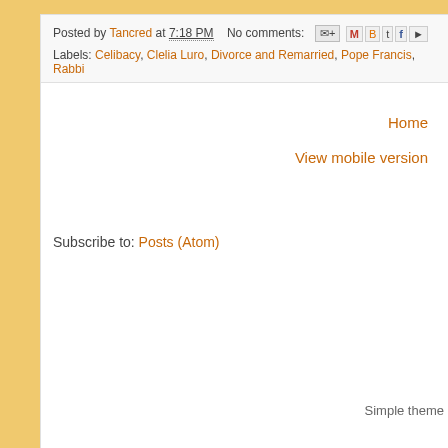Posted by Tancred at 7:18 PM   No comments:   [icons]
Labels: Celibacy, Clelia Luro, Divorce and Remarried, Pope Francis, Rabbi
Home
View mobile version
Subscribe to: Posts (Atom)
Simple theme